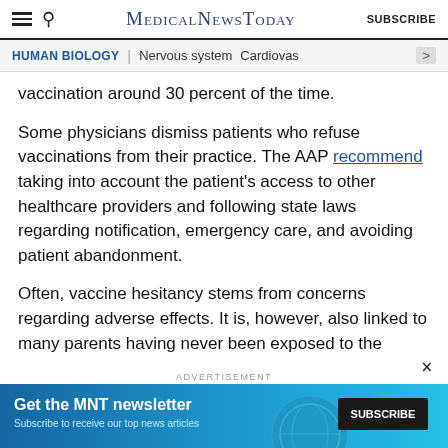MedicalNewsToday | SUBSCRIBE
HUMAN BIOLOGY | Nervous system | Cardiovas
vaccination around 30 percent of the time.
Some physicians dismiss patients who refuse vaccinations from their practice. The AAP recommend taking into account the patient's access to other healthcare providers and following state laws regarding notification, emergency care, and avoiding patient abandonment.
Often, vaccine hesitancy stems from concerns regarding adverse effects. It is, however, also linked to many parents having never been exposed to the
ADVERTISEMENT
[Figure (infographic): MNT newsletter subscription advertisement banner with teal/blue gradient background, globe graphic, text 'Get the MNT newsletter' and 'Subscribe to receive our top news articles' with a dark SUBSCRIBE button]